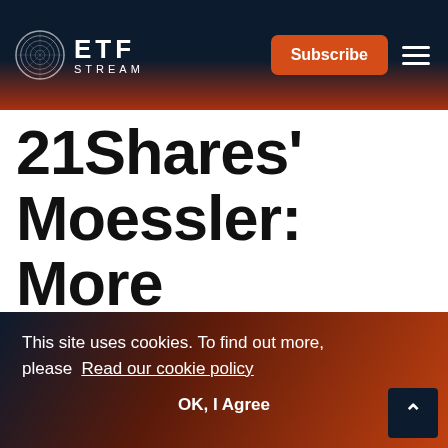ETF STREAM — Subscribe
21Shares' Moessler: More education needed
This site uses cookies. To find out more, please Read our cookie policy
OK, I Agree